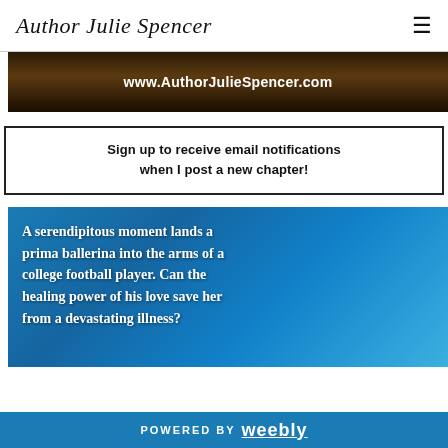Author Julie Spencer
[Figure (other): Dark banner image with www.AuthorJulieSpencer.com text in white]
Sign up to receive email notifications when I post a new chapter!
[Figure (other): Blue banner image of a prima ballerina with text: A serendipitous moment lands a prima ballerina into the arms of a college football player. Can the healing power of his love save her from a devastating illness?]
POWERED BY Weebly